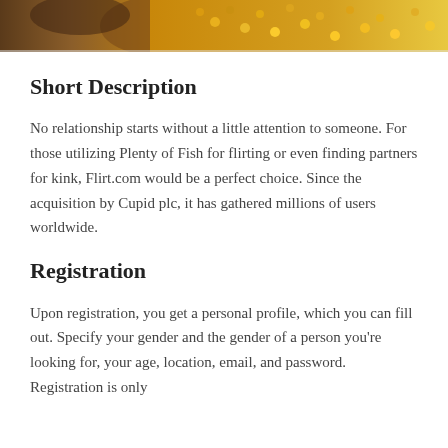[Figure (photo): Partial photo strip at the top of the page showing an animal and food/corn in warm yellow-brown tones.]
Short Description
No relationship starts without a little attention to someone. For those utilizing Plenty of Fish for flirting or even finding partners for kink, Flirt.com would be a perfect choice. Since the acquisition by Cupid plc, it has gathered millions of users worldwide.
Registration
Upon registration, you get a personal profile, which you can fill out. Specify your gender and the gender of a person you're looking for, your age, location, email, and password. Registration is only